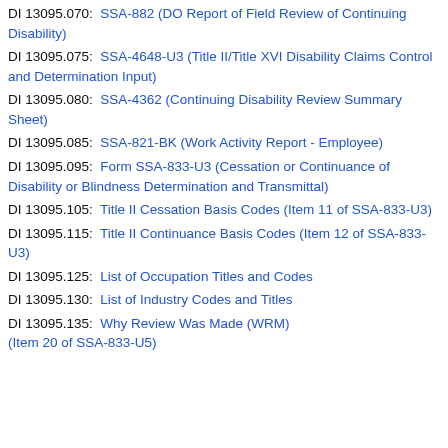DI 13095.070: SSA-882 (DO Report of Field Review of Continuing Disability)
DI 13095.075: SSA-4648-U3 (Title II/Title XVI Disability Claims Control and Determination Input)
DI 13095.080: SSA-4362 (Continuing Disability Review Summary Sheet)
DI 13095.085: SSA-821-BK (Work Activity Report - Employee)
DI 13095.095: Form SSA-833-U3 (Cessation or Continuance of Disability or Blindness Determination and Transmittal)
DI 13095.105: Title II Cessation Basis Codes (Item 11 of SSA-833-U3)
DI 13095.115: Title II Continuance Basis Codes (Item 12 of SSA-833-U3)
DI 13095.125: List of Occupation Titles and Codes
DI 13095.130: List of Industry Codes and Titles
DI 13095.135: Why Review Was Made (WRM) (Item 20 of SSA-833-U5)